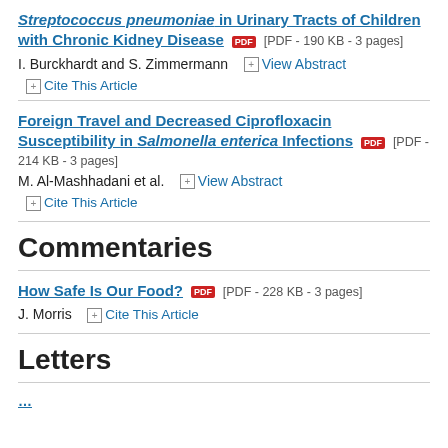Streptococcus pneumoniae in Urinary Tracts of Children with Chronic Kidney Disease [PDF - 190 KB - 3 pages]
I. Burckhardt and S. Zimmermann   View Abstract
Cite This Article
Foreign Travel and Decreased Ciprofloxacin Susceptibility in Salmonella enterica Infections [PDF - 214 KB - 3 pages]
M. Al-Mashhadani et al.   View Abstract
Cite This Article
Commentaries
How Safe Is Our Food? [PDF - 228 KB - 3 pages]
J. Morris   Cite This Article
Letters
...